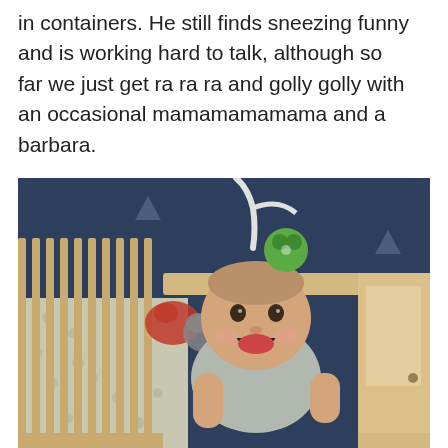in containers. He still finds sneezing funny and is working hard to talk, although so far we just get ra ra ra and golly golly with an occasional mamamamamama and a barbara.
[Figure (photo): A smiling baby standing up in a wooden crib, holding onto the crib rail. The wall behind is dark navy blue with light triangle decorations. A colorful toy mobile hangs above the crib.]